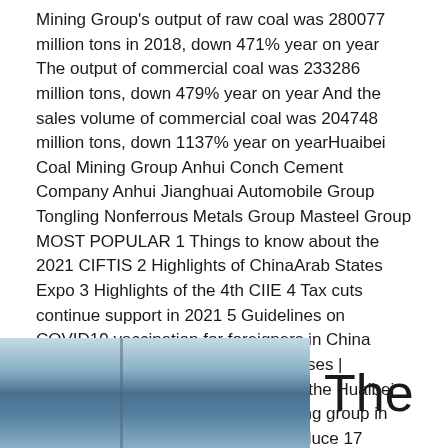Mining Group's output of raw coal was 280077 million tons in 2018, down 471% year on year The output of commercial coal was 233286 million tons, down 479% year on year And the sales volume of commercial coal was 204748 million tons, down 1137% year on yearHuaibei Coal Mining Group Anhui Conch Cement Company Anhui Jianghuai Automobile Group Tongling Nonferrous Metals Group Masteel Group MOST POPULAR 1 Things to know about the 2021 CIFTIS 2 Highlights of ChinaArab States Expo 3 Highlights of the 4th CIIE 4 Tax cuts continue support in 2021 5 Guidelines on COVID19 vaccination for foreigners in China Editors' Picks Yangtze RiverEnterprises | govt05/05/2016· Huaibei is home to the Huaibei Coal Mining Group, the largest mining group in east China It's been reported to produce 17 million tonnes of coal every year Huaibei coalCoal miners pose for moving pictures with their loyal
[Figure (photo): Photograph showing industrial/mining structures with blue sky background, partially visible on the left portion of the bottom section]
The